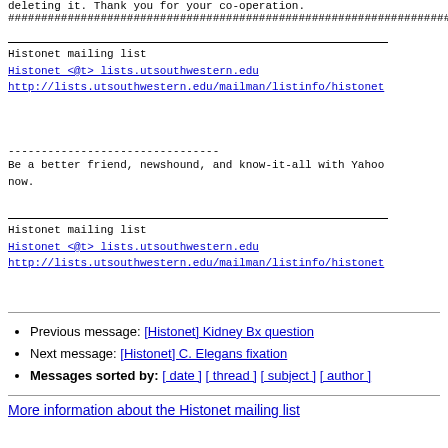deleting it. Thank you for your co-operation.
################################################################################
Histonet mailing list
Histonet <@t> lists.utsouthwestern.edu
http://lists.utsouthwestern.edu/mailman/listinfo/histonet
--------------------------------
Be a better friend, newshound, and know-it-all with Yahoo now.
Histonet mailing list
Histonet <@t> lists.utsouthwestern.edu
http://lists.utsouthwestern.edu/mailman/listinfo/histonet
Previous message: [Histonet] Kidney Bx question
Next message: [Histonet] C. Elegans fixation
Messages sorted by: [ date ] [ thread ] [ subject ] [ author ]
More information about the Histonet mailing list